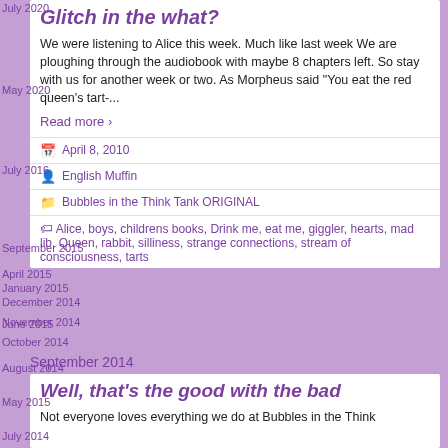July 2020
Glitch in the what?
May 2020
We were listening to Alice this week. Much like last week We are ploughing through the audiobook with maybe 8 chapters left. So stay with us for another week or two. As Morpheus said "You eat the red queen's tart-...
July 2016
September 2015
Read more ›
June 2015
May 2015
April 8, 2010
April 2015
English Muffin
January 2015
Bubbles in the Think Tank ORIGINAL
December 2014
Alice, boys, childrens books, Drink me, eat me, giggler, hearts, mad lib, Queen, rabbit, silliness, strange connections, stream of consciousness, tarts
November 2014
October 2014
September 2014
August 2014
Well, that's the good with the bad
July 2014
Not everyone loves everything we do at Bubbles in the Think